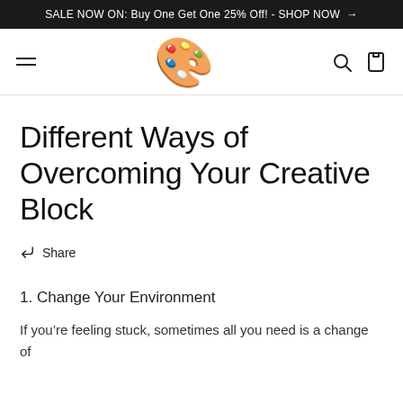SALE NOW ON: Buy One Get One 25% Off! - SHOP NOW →
[Figure (logo): Paint palette emoji logo in navigation bar]
Different Ways of Overcoming Your Creative Block
↑  Share
1. Change Your Environment
If you're feeling stuck, sometimes all you need is a change of